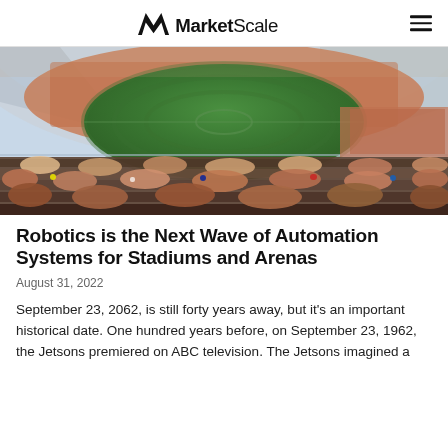MarketScale
[Figure (photo): Aerial view of a packed football/soccer stadium with green field visible in the center, thousands of spectators in the stands, taken from the upper tier looking down across the pitch.]
Robotics is the Next Wave of Automation Systems for Stadiums and Arenas
August 31, 2022
September 23, 2062, is still forty years away, but it's an important historical date. One hundred years before, on September 23, 1962, the Jetsons premiered on ABC television. The Jetsons imagined a